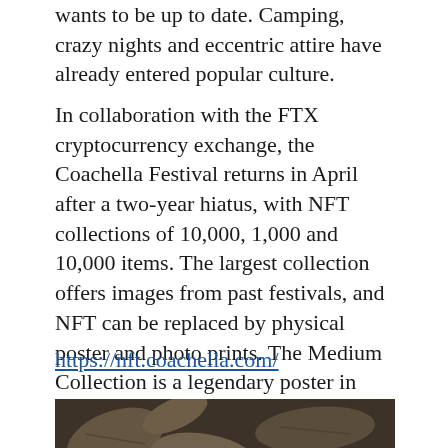wants to be up to date. Camping, crazy nights and eccentric attire have already entered popular culture.
In collaboration with the FTX cryptocurrency exchange, the Coachella Festival returns in April after a two-year hiatus, with NFT collections of 10,000, 1,000 and 10,000 items. The largest collection offers images from past festivals, and NFT can be replaced by physical poster and photo prints. The Medium Collection is a legendary poster in several variants, and the most exclusive NFT is a lifelong ticket to the festival.
https://nft.coachella.com/
[Figure (photo): Close-up photo of dry autumn leaves on the ground with small red berries and green plant pieces visible among the leaves.]